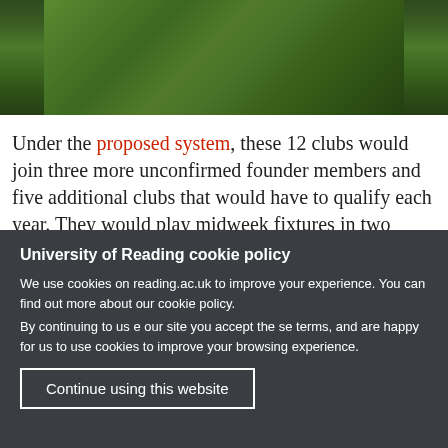[Figure (photo): Grass or turf surface viewed from above, dark green texture filling the upper portion of the page.]
Under the proposed system, these 12 clubs would join three more unconfirmed founder members and five additional clubs that would have to qualify each year. They would play midweek fixtures in two mini-leagues of ten
University of Reading cookie policy
We use cookies on reading.ac.uk to improve your experience. You can find out more about our cookie policy.
By continuing to use our site you accept these terms, and are happy for us to use cookies to improve your browsing experience.
Continue using this website